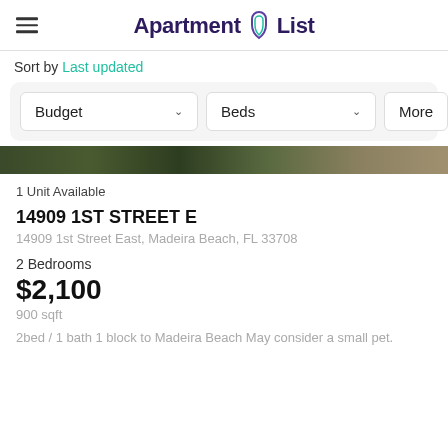Apartment List
Sort by Last updated
Budget  Beds  More
[Figure (photo): Outdoor vegetation/trees image strip at top of listing card]
1 Unit Available
14909 1ST STREET E
14909 1st Street East, Madeira Beach, FL 33708
2 Bedrooms
$2,100
900 sqft
2bed / 1 bath 1 block to Madeira Beach May consider a small pet.